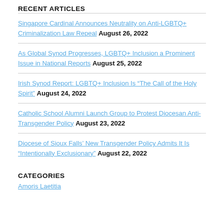RECENT ARTICLES
Singapore Cardinal Announces Neutrality on Anti-LGBTQ+ Criminalization Law Repeal August 26, 2022
As Global Synod Progresses, LGBTQ+ Inclusion a Prominent Issue in National Reports August 25, 2022
Irish Synod Report: LGBTQ+ Inclusion Is “The Call of the Holy Spirit” August 24, 2022
Catholic School Alumni Launch Group to Protest Diocesan Anti-Transgender Policy August 23, 2022
Diocese of Sioux Falls’ New Transgender Policy Admits It Is “Intentionally Exclusionary” August 22, 2022
CATEGORIES
Amoris Laetitia